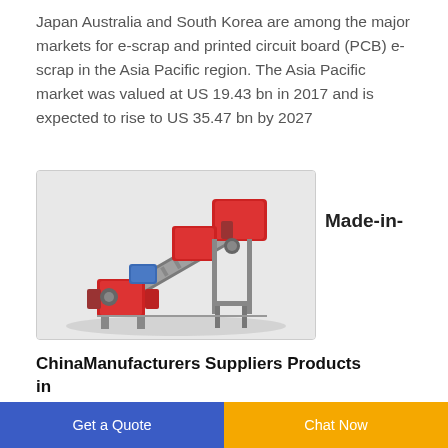Japan Australia and South Korea are among the major markets for e-scrap and printed circuit board (PCB) e-scrap in the Asia Pacific region. The Asia Pacific market was valued at US 19.43 bn in 2017 and is expected to rise to US 35.47 bn by 2027
[Figure (photo): 3D rendering of an industrial e-scrap processing machine with red and metallic components and a conveyor belt]
Made-in-
ChinaManufacturers Suppliers Products in